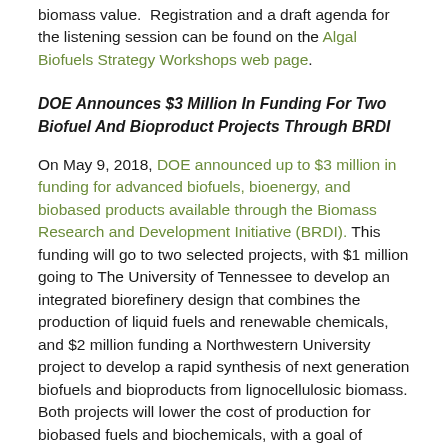biomass value.  Registration and a draft agenda for the listening session can be found on the Algal Biofuels Strategy Workshops web page.
DOE Announces $3 Million In Funding For Two Biofuel And Bioproduct Projects Through BRDI
On May 9, 2018, DOE announced up to $3 million in funding for advanced biofuels, bioenergy, and biobased products available through the Biomass Research and Development Initiative (BRDI). This funding will go to two selected projects, with $1 million going to The University of Tennessee to develop an integrated biorefinery design that combines the production of liquid fuels and renewable chemicals, and $2 million funding a Northwestern University project to develop a rapid synthesis of next generation biofuels and bioproducts from lignocellulosic biomass. Both projects will lower the cost of production for biobased fuels and biochemicals, with a goal of resulting in less than $3 per gallon gasoline